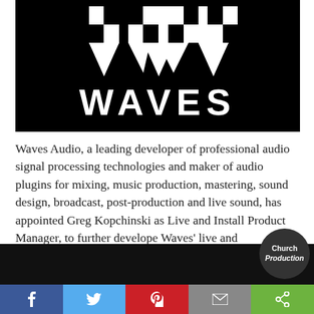[Figure (logo): Waves Audio logo — white W chevron mark and WAVES wordmark on black background]
Waves Audio, a leading developer of professional audio signal processing technologies and maker of audio plugins for mixing, music production, mastering, sound design, broadcast, post-production and live sound, has appointed Greg Kopchinski as Live and Install Product Manager, to further develope Waves' live and commercial AV products.
[Figure (photo): Partial photo of a person visible at the bottom of the page, dark background]
f | Twitter bird | Pinterest P | envelope | share icon — Church Production badge